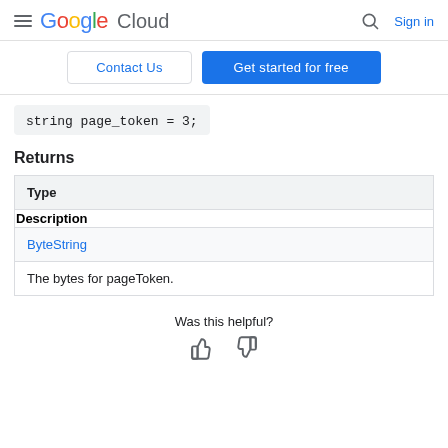Google Cloud | Contact Us | Get started for free | Sign in
Returns
| Type | Description |
| --- | --- |
| ByteString | The bytes for pageToken. |
Was this helpful?